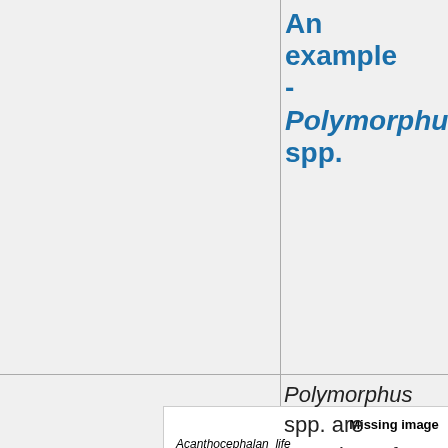An example - Polymorphus spp.
[Figure (illustration): Missing image placeholder for Acanthocephalan_life_ - A diagram of the life cycle of Polymorphus spp.]
A diagram of the life cycle of Polymorphus spp.
Polymorphus spp. are parasites of seabirds, particularly the Eider Duck